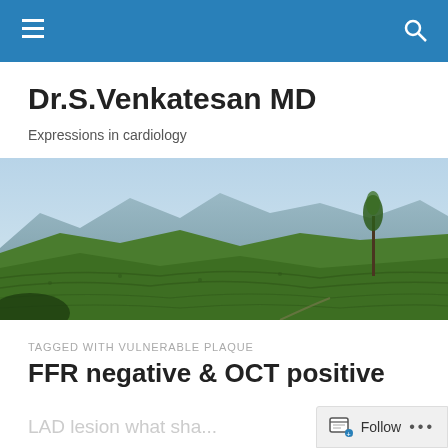Dr.S.Venkatesan MD — navigation bar
Dr.S.Venkatesan MD
Expressions in cardiology
[Figure (photo): Panoramic landscape photograph of green tea plantation hills with mountains in the background and a lone tree on the right side]
TAGGED WITH VULNERABLE PLAQUE
FFR negative & OCT positive
LAD lesion  what sha...